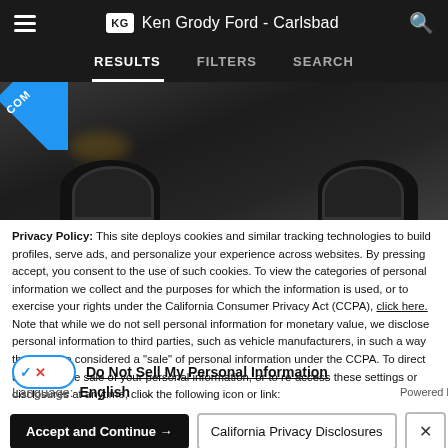Ken Grody Ford - Carlsbad
[Figure (screenshot): Navigation tab bar with RESULTS, FILTERS, SEARCH tabs on dark background]
[Figure (photo): Black Ford SUV/crossover vehicle, front three-quarter view with a blue COMP badge in top-left corner]
Privacy Policy: This site deploys cookies and similar tracking technologies to build profiles, serve ads, and personalize your experience across websites. By pressing accept, you consent to the use of such cookies. To view the categories of personal information we collect and the purposes for which the information is used, or to exercise your rights under the California Consumer Privacy Act (CCPA), click here. Note that while we do not sell personal information for monetary value, we disclose personal information to third parties, such as vehicle manufacturers, in such a way that may be considered a "sale" of personal information under the CCPA. To direct us to stop the sale of your personal information, or to re-access these settings or disclosures at anytime, click the following icon or link:
Do Not Sell My Personal Information
Language: English
Powered by ComplyAuto
Accept and Continue → | California Privacy Disclosures | ×